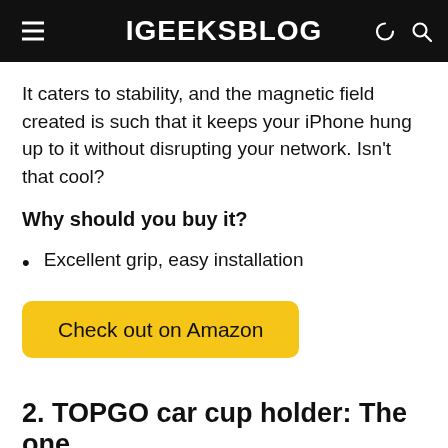iGEEKSBLOG
It caters to stability, and the magnetic field created is such that it keeps your iPhone hung up to it without disrupting your network. Isn't that cool?
Why should you buy it?
Excellent grip, easy installation
Check out on Amazon
2. TOPGO car cup holder: The one